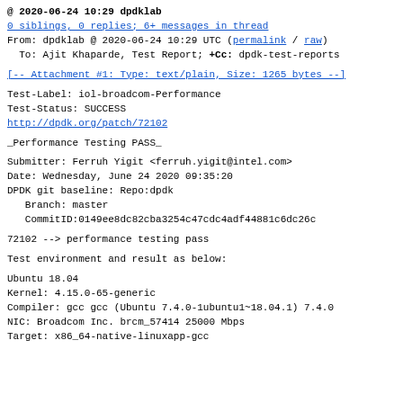@ 2020-06-24 10:29 dpdklab
0 siblings, 0 replies; 6+ messages in thread
From: dpdklab @ 2020-06-24 10:29 UTC (permalink / raw)
  To: Ajit Khaparde, Test Report; +Cc: dpdk-test-reports
[-- Attachment #1: Type: text/plain, Size: 1265 bytes --]
Test-Label: iol-broadcom-Performance
Test-Status: SUCCESS
http://dpdk.org/patch/72102
_Performance Testing PASS_
Submitter: Ferruh Yigit <ferruh.yigit@intel.com>
Date: Wednesday, June 24 2020 09:35:20
DPDK git baseline: Repo:dpdk
   Branch: master
   CommitID:0149ee8dc82cba3254c47cdc4adf44881c6dc26c
72102 --> performance testing pass
Test environment and result as below:
Ubuntu 18.04
Kernel: 4.15.0-65-generic
Compiler: gcc gcc (Ubuntu 7.4.0-1ubuntu1~18.04.1) 7.4.0
NIC: Broadcom Inc. brcm_57414 25000 Mbps
Target: x86_64-native-linuxapp-gcc